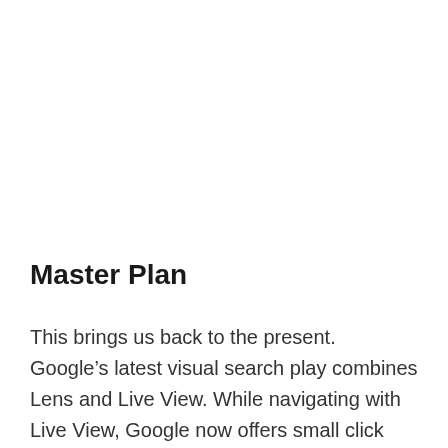Master Plan
This brings us back to the present. Google’s latest visual search play combines Lens and Live View. While navigating with Live View, Google now offers small click targets on your touchscreen when it recognizes a business storefront. When tapped, expanded business